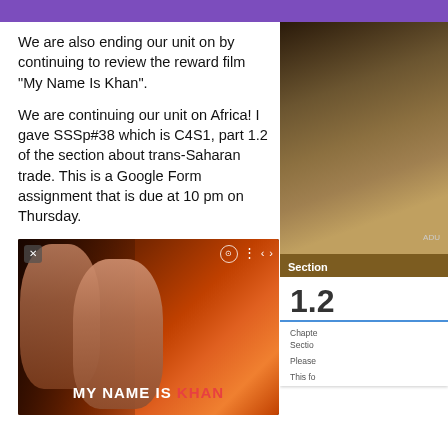We are also ending our unit on by continuing to review the reward film "My Name Is Khan".
We are continuing our unit on Africa! I gave SSSp#38 which is C4S1, part 1.2 of the section about trans-Saharan trade. This is a Google Form assignment that is due at 10 pm on Thursday.
[Figure (photo): Movie poster for 'My Name Is Khan' showing two actors (a woman and a man) against a red/orange background. White text reads 'MY NAME IS' and red bold text reads 'KHAN'. A close button (x) is in the top left and video controls are in the top right.]
[Figure (photo): Partial view of what appears to be a map of Africa in brown/tan tones.]
Section
1.2
Chapter
Section
Please
This fo